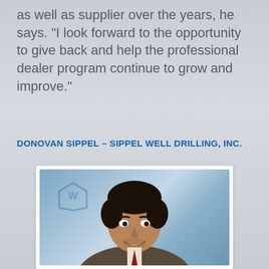as well as supplier over the years, he says. “I look forward to the opportunity to give back and help the professional dealer program continue to grow and improve.”
DONOVAN SIPPEL – SIPPEL WELL DRILLING, INC.
[Figure (photo): Headshot photo of Donovan Sippel, a man with dark hair and facial stubble, smiling, wearing a suit jacket, against a blurred blue-grey background with a faint watermark logo.]